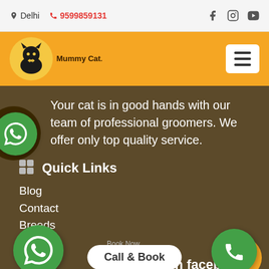Delhi  9599859131
[Figure (logo): Mummy Cat logo - black cat on yellow circle with text Mummy Cat]
Your cat is in good hands with our team of professional groomers. We offer only top quality service.
Quick Links
Blog
Contact
Breeds
Home
Like us on facebook